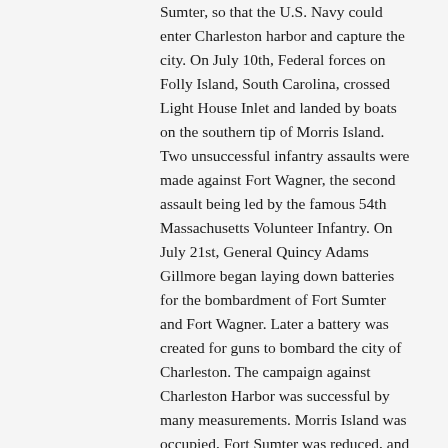Sumter, so that the U.S. Navy could enter Charleston harbor and capture the city. On July 10th, Federal forces on Folly Island, South Carolina, crossed Light House Inlet and landed by boats on the southern tip of Morris Island. Two unsuccessful infantry assaults were made against Fort Wagner, the second assault being led by the famous 54th Massachusetts Volunteer Infantry. On July 21st, General Quincy Adams Gillmore began laying down batteries for the bombardment of Fort Sumter and Fort Wagner. Later a battery was created for guns to bombard the city of Charleston. The campaign against Charleston Harbor was successful by many measurements. Morris Island was occupied, Fort Sumter was reduced, and the presence of Federal batteries sweeping the main channel into the harbor, effectively closed Charleston as a port for blockade runners. However, the long struggle on Morris Island gave the Confederates time to strengthen the harbor's other defensive works, and the U.S. Navy did not enter Charleston Harbor until after General William T. Sherman's advance through South Carolina finally forced the Confederates to evacuate the city on February 17th, 1865. About the Artist: William T. Crane was a 'special artist' for Frank Leslie's Illustrated Newspaper. General Quincy A. Thomas consulted by the artist on the eve of